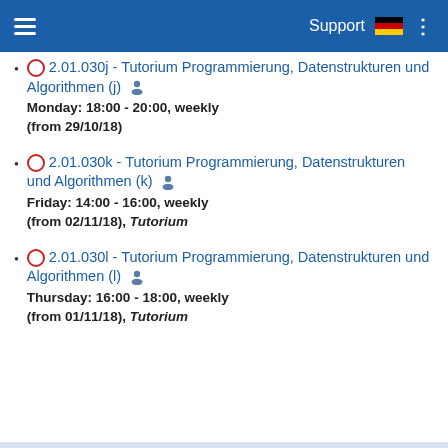Support
2.01.030j - Tutorium Programmierung, Datenstrukturen und Algorithmen (j)
Monday: 18:00 - 20:00, weekly (from 29/10/18)
2.01.030k - Tutorium Programmierung, Datenstrukturen und Algorithmen (k)
Friday: 14:00 - 16:00, weekly (from 02/11/18), Tutorium
2.01.030l - Tutorium Programmierung, Datenstrukturen und Algorithmen (l)
Thursday: 16:00 - 18:00, weekly (from 01/11/18), Tutorium